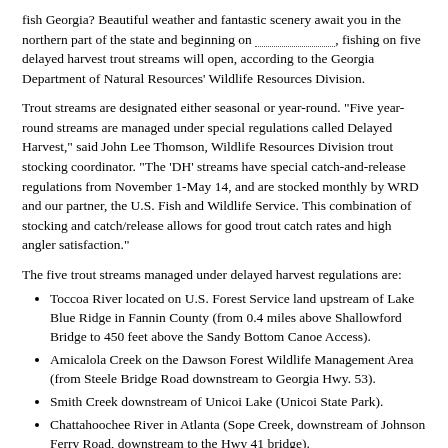fish Georgia? Beautiful weather and fantastic scenery await you in the northern part of the state and beginning on __________, fishing on five delayed harvest trout streams will open, according to the Georgia Department of Natural Resources' Wildlife Resources Division.
Trout streams are designated either seasonal or year-round. "Five year-round streams are managed under special regulations called Delayed Harvest," said John Lee Thomson, Wildlife Resources Division trout stocking coordinator. "The 'DH' streams have special catch-and-release regulations from November 1-May 14, and are stocked monthly by WRD and our partner, the U.S. Fish and Wildlife Service. This combination of stocking and catch/release allows for good trout catch rates and high angler satisfaction."
The five trout streams managed under delayed harvest regulations are:
Toccoa River located on U.S. Forest Service land upstream of Lake Blue Ridge in Fannin County (from 0.4 miles above Shallowford Bridge to 450 feet above the Sandy Bottom Canoe Access).
Amicalola Creek on the Dawson Forest Wildlife Management Area (from Steele Bridge Road downstream to Georgia Hwy. 53).
Smith Creek downstream of Unicoi Lake (Unicoi State Park).
Chattahoochee River in Atlanta (Sope Creek, downstream of Johnson Ferry Road, downstream to the Hwy 41 bridge).
A portion of the Chattooga River (from Ga. Hwy. 28 upstream to the